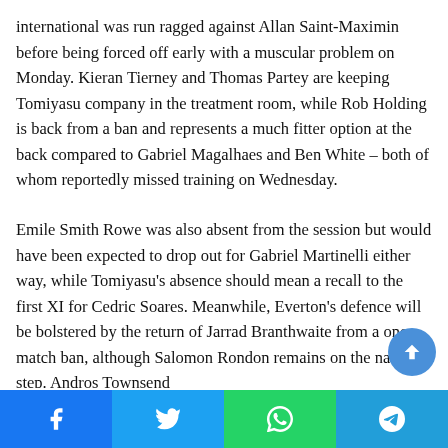international was run ragged against Allan Saint-Maximin before being forced off early with a muscular problem on Monday. Kieran Tierney and Thomas Partey are keeping Tomiyasu company in the treatment room, while Rob Holding is back from a ban and represents a much fitter option at the back compared to Gabriel Magalhaes and Ben White – both of whom reportedly missed training on Wednesday.
Emile Smith Rowe was also absent from the session but would have been expected to drop out for Gabriel Martinelli either way, while Tomiyasu's absence should mean a recall to the first XI for Cedric Soares. Meanwhile, Everton's defence will be bolstered by the return of Jarrad Branthwaite from a one-match ban, although Salomon Rondon remains on the naughty step. Andros Townsend
[Figure (other): Social sharing bar with Facebook, Twitter, WhatsApp, and Telegram buttons, plus a scroll-to-top circular button]